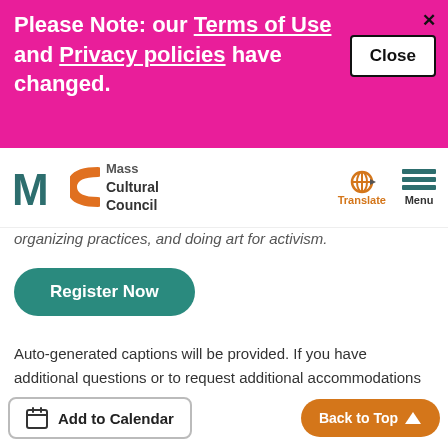Please Note: our Terms of Use and Privacy policies have changed.
organizing practices, and doing art for activism.
Register Now
Auto-generated captions will be provided. If you have additional questions or to request additional accommodations to ensure your participation, please contact Michael Ibrahim.
Add to Calendar
Back to Top